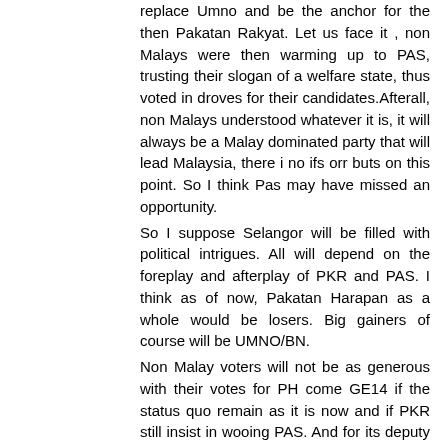replace Umno and be the anchor for the then Pakatan Rakyat. Let us face it , non Malays were then warming up to PAS, trusting their slogan of a welfare state, thus voted in droves for their candidates.Afterall, non Malays understood whatever it is, it will always be a Malay dominated party that will lead Malaysia, there i no ifs orr buts on this point. So I think Pas may have missed an opportunity.
So I suppose Selangor will be filled with political intrigues. All will depend on the foreplay and afterplay of PKR and PAS. I think as of now, Pakatan Harapan as a whole would be losers. Big gainers of course will be UMNO/BN.
Non Malay voters will not be as generous with their votes for PH come GE14 if the status quo remain as it is now and if PKR still insist in wooing PAS. And for its deputy President to say it is none of PH partners business, i would think that is rather arrogant. This episode will cost DAP dearly come GE14. DAP must remember, as a majority Chinese led Party, , if the Chinese can bring MCA and Gerakan to its knees, DAP if not careful face the wrath of the Chinese as well.
Dap and PKR if it were to look back at voting trends of past